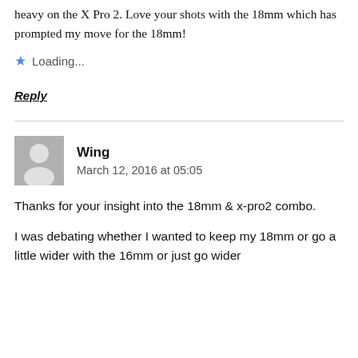heavy on the X Pro 2. Love your shots with the 18mm which has prompted my move for the 18mm!
★ Loading...
Reply
Wing
March 12, 2016 at 05:05
Thanks for your insight into the 18mm & x-pro2 combo.
I was debating whether I wanted to keep my 18mm or go a little wider with the 16mm or just go wider